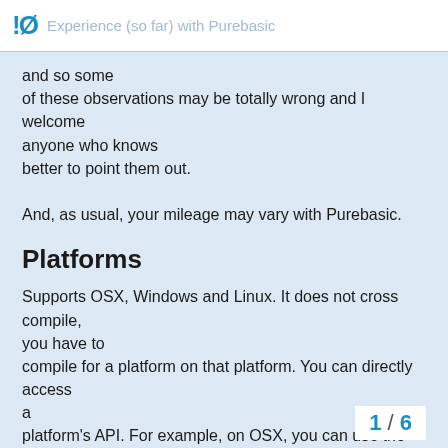!0  Experience (so far) with Purebasic
and so some of these observations may be totally wrong and I welcome anyone who knows better to point them out.

And, as usual, your mileage may vary with Purebasic.
Platforms
Supports OSX, Windows and Linux. It does not cross compile, you have to compile for a platform on that platform. You can directly access a platform's API. For example, on OSX, you can use the CocoaMessage command to access Cocoa methods and objects. Note: it does not work for everything in Cocoa.
1 / 6